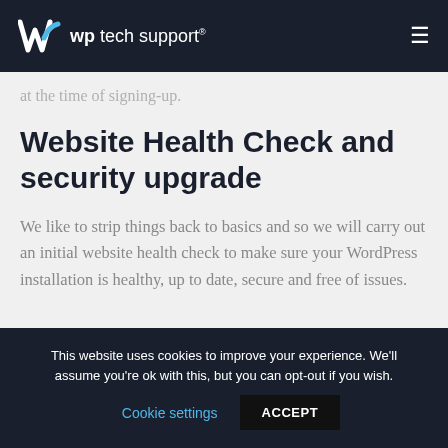wp tech support®
at the time of signing-up.
Website Health Check and security upgrade
We like to strip things back to basics and so we will carry out an initial website health check to make sure your WordPress installation is healthy, up to date, secure and free of issues.
This website uses cookies to improve your experience. We'll assume you're ok with this, but you can opt-out if you wish. Cookie settings ACCEPT